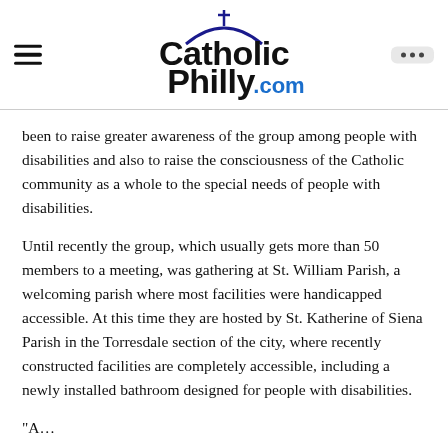CatholicPhilly.com
been to raise greater awareness of the group among people with disabilities and also to raise the consciousness of the Catholic community as a whole to the special needs of people with disabilities.
Until recently the group, which usually gets more than 50 members to a meeting, was gathering at St. William Parish, a welcoming parish where most facilities were handicapped accessible. At this time they are hosted by St. Katherine of Siena Parish in the Torresdale section of the city, where recently constructed facilities are completely accessible, including a newly installed bathroom designed for people with disabilities.
"A…